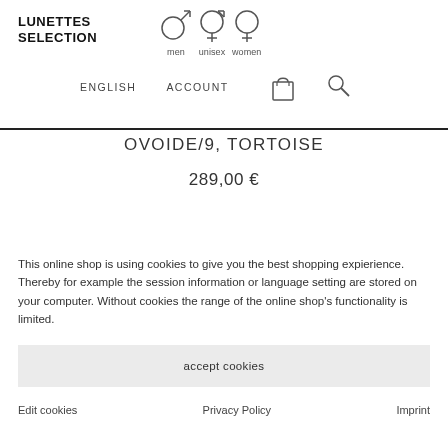LUNETTES SELECTION
[Figure (illustration): Gender category icons: male symbol labeled 'men', combined male/female symbol labeled 'unisex', female symbol labeled 'women']
ENGLISH   ACCOUNT
OVOIDE/9, TORTOISE
289,00 €
This online shop is using cookies to give you the best shopping expierience. Thereby for example the session information or language setting are stored on your computer. Without cookies the range of the online shop's functionality is limited.
accept cookies
Edit cookies   Privacy Policy   Imprint